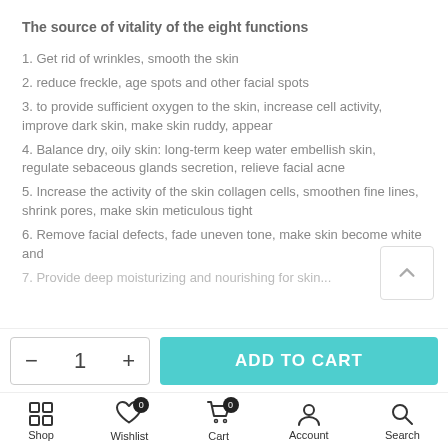The source of vitality of the eight functions
1. Get rid of wrinkles, smooth the skin
2. reduce freckle, age spots and other facial spots
3. to provide sufficient oxygen to the skin, increase cell activity, improve dark skin, make skin ruddy, appear
4. Balance dry, oily skin: long-term keep water embellish skin, regulate sebaceous glands secretion, relieve facial acne
5. Increase the activity of the skin collagen cells, smoothen fine lines, shrink pores, make skin meticulous tight
6. Remove facial defects, fade uneven tone, make skin become white and
7. Provide deep moisturizing and nourishing for skin...